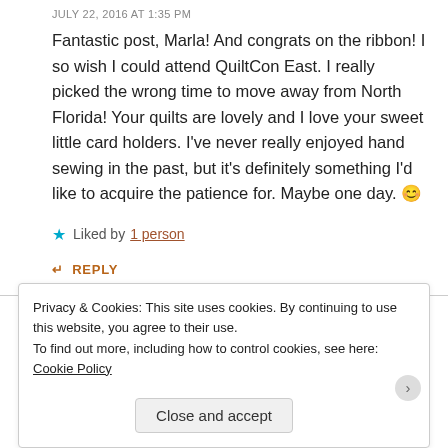JULY 22, 2016 AT 1:35 PM
Fantastic post, Marla! And congrats on the ribbon! I so wish I could attend QuiltCon East. I really picked the wrong time to move away from North Florida! Your quilts are lovely and I love your sweet little card holders. I've never really enjoyed hand sewing in the past, but it's definitely something I'd like to acquire the patience for. Maybe one day. 😊
★ Liked by 1 person
↵ REPLY
Privacy & Cookies: This site uses cookies. By continuing to use this website, you agree to their use.
To find out more, including how to control cookies, see here: Cookie Policy
Close and accept